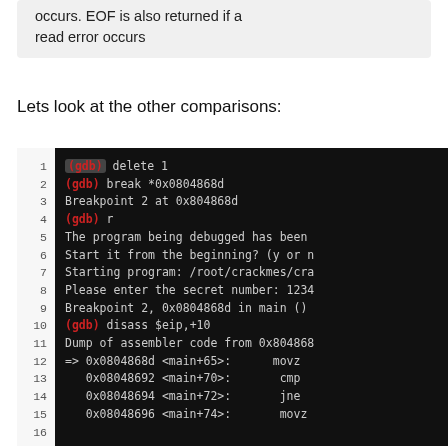occurs. EOF is also returned if a read error occurs
Lets look at the other comparisons:
[Figure (screenshot): GDB debugger terminal session showing commands: delete 1, break *0x0804868d, Breakpoint 2 at 0x804868d, r, program restart prompt, Starting program: /root/crackmes/cra..., Please enter the secret number: 1234, Breakpoint 2 0x0804868d in main(), disass $eip,+10, Dump of assembler code from 0x804868..., assembly lines for addresses 0x0804868d through 0x08048696]